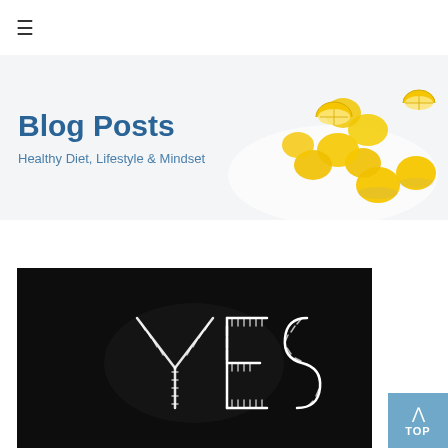☰
Blog Posts
Healthy Diet, Lifestyle & Mindset
[Figure (illustration): Lemons scattered on a white surface, some whole and some cut in half, on a light grey background]
[Figure (photo): Dark background with neon sign spelling YES in white neon lights]